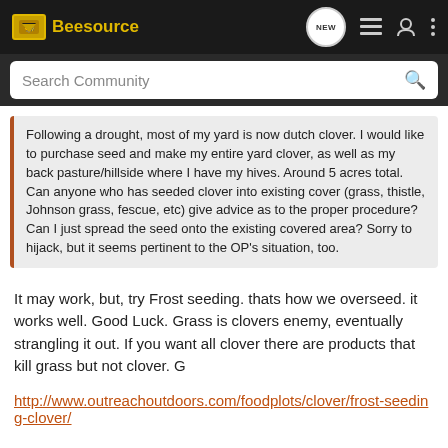Beesource
Search Community
Following a drought, most of my yard is now dutch clover. I would like to purchase seed and make my entire yard clover, as well as my back pasture/hillside where I have my hives. Around 5 acres total. Can anyone who has seeded clover into existing cover (grass, thistle, Johnson grass, fescue, etc) give advice as to the proper procedure? Can I just spread the seed onto the existing covered area? Sorry to hijack, but it seems pertinent to the OP's situation, too.
It may work, but, try Frost seeding. thats how we overseed. it works well. Good Luck. Grass is clovers enemy, eventually strangling it out. If you want all clover there are products that kill grass but not clover. G
http://www.outreachoutdoors.com/foodplots/clover/frost-seeding-clover/